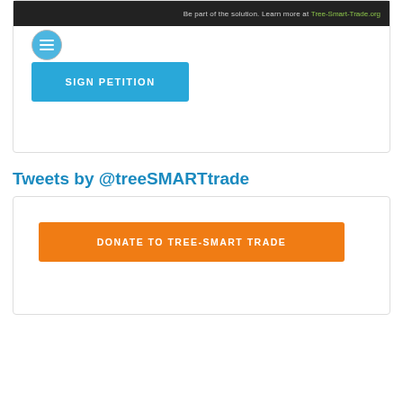[Figure (screenshot): Dark banner with Tree-SMART Trade logo and text 'Be part of the solution. Learn more at Tree-Smart-Trade.org']
[Figure (other): Circular icon with hamburger menu lines]
SIGN PETITION
Tweets by @treeSMARTtrade
DONATE TO TREE-SMART TRADE